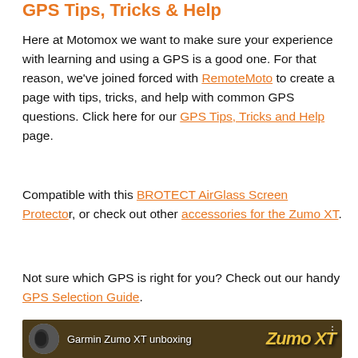GPS Tips, Tricks & Help
Here at Motomox we want to make sure your experience with learning and using a GPS is a good one. For that reason, we've joined forced with RemoteMoto to create a page with tips, tricks, and help with common GPS questions. Click here for our GPS Tips, Tricks and Help page.
Compatible with this BROTECT AirGlass Screen Protector, or check out other accessories for the Zumo XT.
Not sure which GPS is right for you? Check out our handy GPS Selection Guide.
[Figure (screenshot): Video thumbnail showing Garmin Zumo XT unboxing with orange logo text and a motorcycle image]